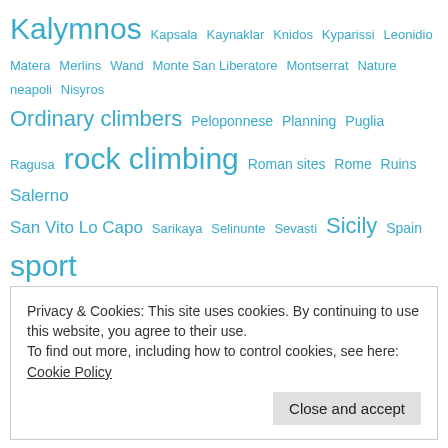Kalymnos Kapsala Kaynaklar Knidos Kyparissi Leonidio Matera Merlins Wand Monte San Liberatore Montserrat Nature neapoli Nisyros Ordinary climbers Peloponnese Planning Puglia Ragusa rock climbing Roman sites Rome Ruins Salerno San Vito Lo Capo Sarikaya Selinunte Sevasti Sicily Spain sport climbing statte Stromboli Syracusa Syracuse travel Turkey Vesuvius Vlychada Volcano Wadi Rum walking Watermill Zobolo
Privacy & Cookies: This site uses cookies. By continuing to use this website, you agree to their use.
To find out more, including how to control cookies, see here: Cookie Policy